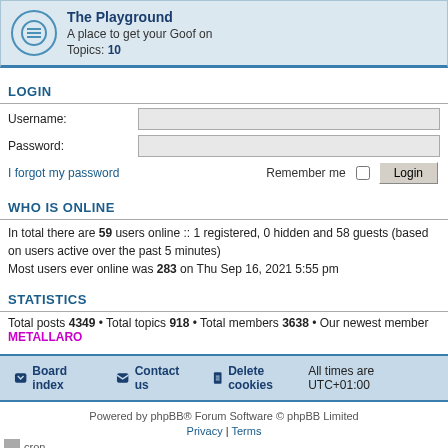The Playground
A place to get your Goof on
Topics: 10
LOGIN
Username:
Password:
I forgot my password   Remember me  Login
WHO IS ONLINE
In total there are 59 users online :: 1 registered, 0 hidden and 58 guests (based on users active over the past 5 minutes)
Most users ever online was 283 on Thu Sep 16, 2021 5:55 pm
STATISTICS
Total posts 4349 • Total topics 918 • Total members 3638 • Our newest member METALLARO
Board index   Contact us   Delete cookies   All times are UTC+01:00
Powered by phpBB® Forum Software © phpBB Limited
Privacy | Terms
cron